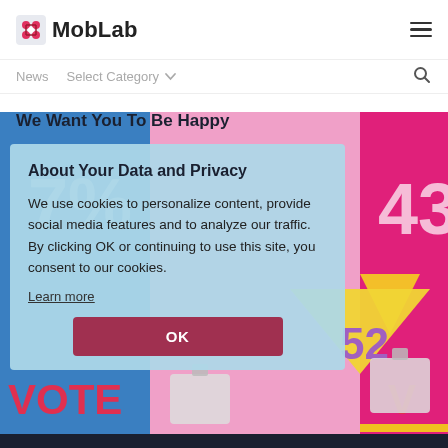MobLab
News    Select Category    🔍
We Want You To Be Happy
[Figure (illustration): Colorful voting-themed illustration with percentages 7%, 52, 43% shown on blue, pink and magenta color blocks with VOTE text and ballot box shapes]
About Your Data and Privacy
We use cookies to personalize content, provide social media features and to analyze our traffic. By clicking OK or continuing to use this site, you consent to our cookies.
Learn more
OK